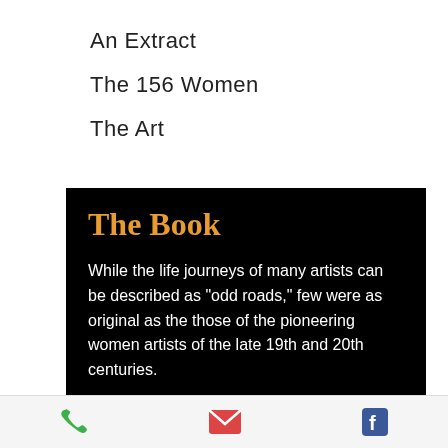An Extract
The 156 Women
The Art
The Book
While the life journeys of many artists can be described as "odd roads," few were as original as the those of the pioneering women artists of the late 19th and 20th centuries.

As these richly talented women
[phone icon] [email icon] [facebook icon]